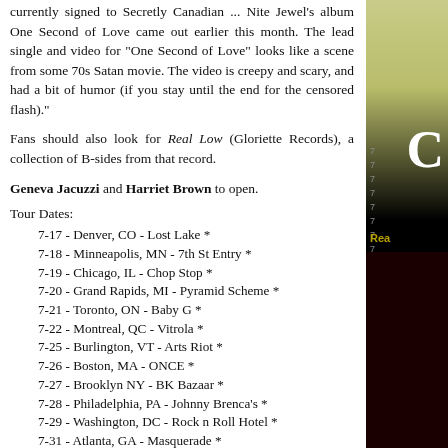currently signed to Secretly Canadian ... Nite Jewel's album One Second of Love came out earlier this month. The lead single and video for "One Second of Love" looks like a scene from some 70s Satan movie. The video is creepy and scary, and had a bit of humor (if you stay until the end for the censored flash)."
Fans should also look for Real Low (Gloriette Records), a collection of B-sides from that record.
Geneva Jacuzzi and Harriet Brown to open.
Tour Dates:
7-17 - Denver, CO - Lost Lake *
7-18 - Minneapolis, MN - 7th St Entry *
7-19 - Chicago, IL - Chop Stop *
7-20 - Grand Rapids, MI - Pyramid Scheme *
7-21 - Toronto, ON - Baby G *
7-22 - Montreal, QC - Vitrola *
7-25 - Burlington, VT - Arts Riot *
7-26 - Boston, MA - ONCE *
7-27 - Brooklyn NY - BK Bazaar *
7-28 - Philadelphia, PA - Johnny Brenca's *
7-29 - Washington, DC - Rock n Roll Hotel *
7-31 - Atlanta, GA - Masquerade *
8-01 - New Orleans, LA - Gasa Gasa *
8-03 - Dallas, TX - Three Links *
8-04 - Austin, TX - Sidewinder *